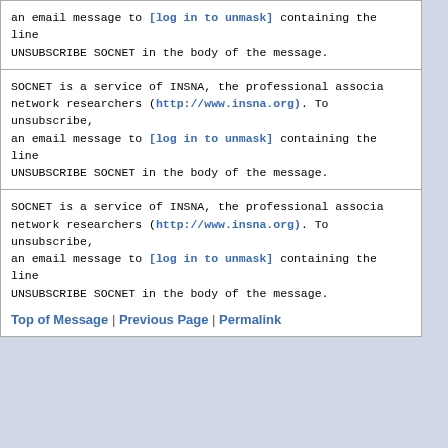an email message to [log in to unmask] containing the line UNSUBSCRIBE SOCNET in the body of the message.
SOCNET is a service of INSNA, the professional association for network researchers (http://www.insna.org). To unsubscribe, send an email message to [log in to unmask] containing the line UNSUBSCRIBE SOCNET in the body of the message.
SOCNET is a service of INSNA, the professional association for network researchers (http://www.insna.org). To unsubscribe, send an email message to [log in to unmask] containing the line UNSUBSCRIBE SOCNET in the body of the message.
Top of Message | Previous Page | Permalink